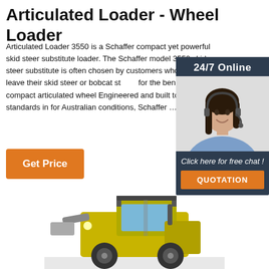Articulated Loader - Wheel Loader
Articulated Loader 3550 is a Schaffer compact yet powerful skid steer substitute loader. The Schaffer model 3550 skid steer substitute is often chosen by customers who want to leave their skid steer or bobcat st... for the benefits of a compact articulated wheel Engineered and built to industrial standards in for Australian conditions, Schaffer …
[Figure (photo): Orange 'Get Price' button]
[Figure (photo): 24/7 Online chat widget showing a female customer service agent wearing a headset, with 'Click here for free chat!' text and an orange QUOTATION button]
[Figure (photo): Yellow/green articulated wheel loader machine photographed from a front-side angle, showing the cab and front bucket area]